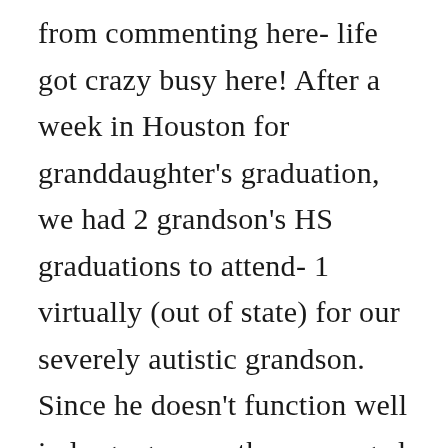from commenting here- life got crazy busy here! After a week in Houston for granddaughter's graduation, we had 2 grandson's HS graduations to attend- 1 virtually (out of state) for our severely autistic grandson. Since he doesn't function well in large groups, they arranged for his graduation to be separate from the regular event. Our 2nd grandson's graduation was local a few days later. The day after that was Memorial Day so we helped with our Church picnic and